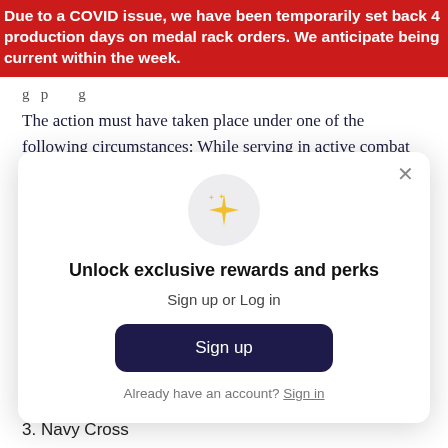Due to a COVID issue, we have been temporarily set back 4 production days on medal rack orders. We anticipate being current within the week.
The action must have taken place under one of the following circumstances: While serving in active combat against enemy forces, while participating in a military operation against armed enemy forces, or while serving in armed conflict alongside allied forces against an opposing force when the
[Figure (other): Modal popup overlay with sparkle icon, 'Unlock exclusive rewards and perks' heading, 'Sign up or Log in' subtitle, a dark navy 'Sign up' button, and 'Already have an account? Sign in' link. A close (×) button in the top right corner.]
3. Navy Cross